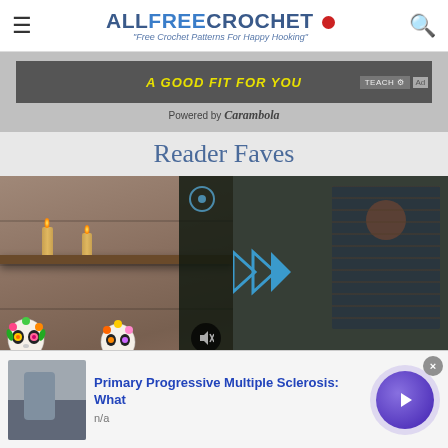ALLFREECROCHET • "Free Crochet Patterns For Happy Hooking"
[Figure (screenshot): Advertisement banner showing text 'A GOOD FIT FOR YOU' with TEACH label and Ad badge, powered by Carambola]
Reader Faves
[Figure (screenshot): Main content image showing colorful Day of the Dead sugar skull decorations on a stone fireplace mantle with candles, overlaid with a semi-transparent video player showing a person and play button controls]
[Figure (screenshot): Bottom advertisement for 'Primary Progressive Multiple Sclerosis: What' with n/a source label, showing a person with a medical device thumbnail image and a purple circular next button, with an X close button]